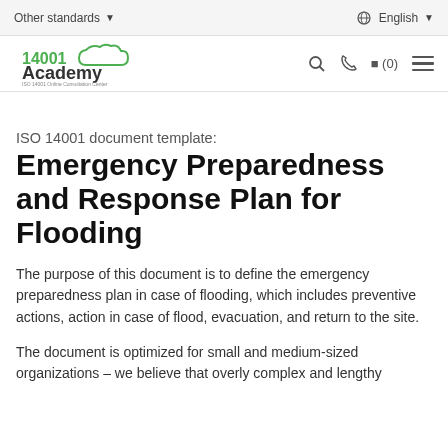Other standards ▾   🌐 English ▾
[Figure (logo): 14001 Academy logo with green cloud and text 'ISO 14001 Online Consultation Center']
ISO 14001 document template:
Emergency Preparedness and Response Plan for Flooding
The purpose of this document is to define the emergency preparedness plan in case of flooding, which includes preventive actions, action in case of flood, evacuation, and return to the site.
The document is optimized for small and medium-sized organizations – we believe that overly complex and lengthy